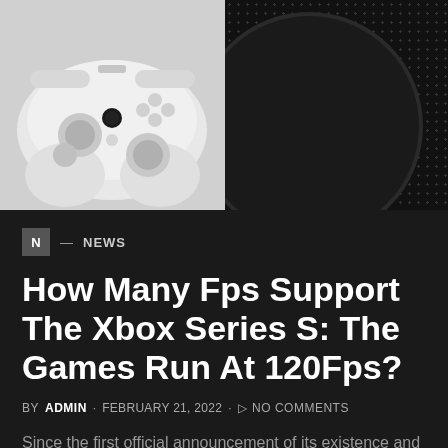[Figure (photo): Hero image showing Xbox Series S white controller on the left half and the Xbox Series S console dot-pattern texture on the right half against a black background]
N — NEWS
How Many Fps Support The Xbox Series S: The Games Run At 120Fps?
BY ADMIN · FEBRUARY 21, 2022 · NO COMMENTS
Since the first official announcement of its existence and its first public presentation, Xbox Series S, the minor...